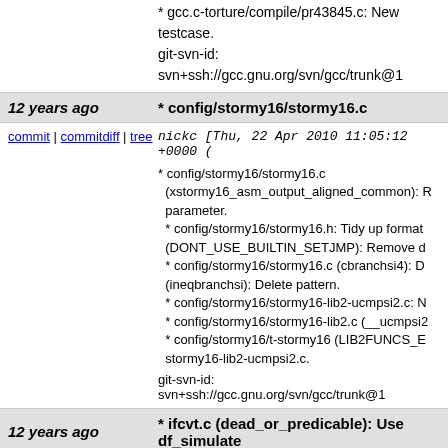* gcc.c-torture/compile/pr43845.c: New testcase.
git-svn-id: svn+ssh://gcc.gnu.org/svn/gcc/trunk@1
| Age | Commit Title |
| --- | --- |
| 12 years ago | * config/stormy16/stormy16.c |
| commit | commitdiff | tree | nickc [Thu, 22 Apr 2010 11:05:12 +0000 ( |
* config/stormy16/stormy16.c (xstormy16_asm_output_aligned_common): Remove unused parameter. * config/stormy16/stormy16.h: Tidy up format (DONT_USE_BUILTIN_SETJMP): Remove d * config/stormy16/stormy16.c (cbranchsi4): D (ineqbranchsi): Delete pattern. * config/stormy16/stormy16-lib2-ucmpsi2.c: N * config/stormy16/stormy16-lib2.c (__ucmpsi2 * config/stormy16/t-stormy16 (LIB2FUNCS_E stormy16-lib2-ucmpsi2.c.
git-svn-id: svn+ssh://gcc.gnu.org/svn/gcc/trunk@1
| Age | Commit Title |
| --- | --- |
| 12 years ago | * ifcvt.c (dead_or_predicable): Use df_simulate |
| commit | commitdiff | tree | bernds [Thu, 22 Apr 2010 10:42:21 +0000 |
* ifcvt.c (dead_or_predicable): Use df_simulate_fi df_simulate_find_noclobber_defs as appropriate. extra set merge_set_noclobber_and use it to rela